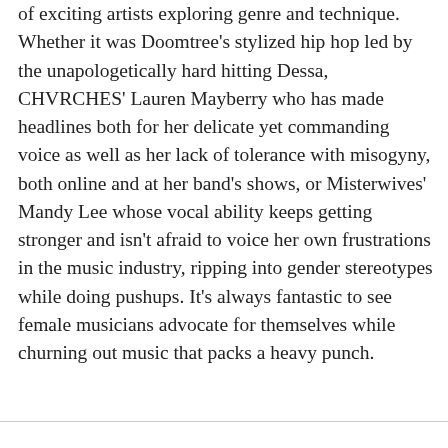of exciting artists exploring genre and technique. Whether it was Doomtree's stylized hip hop led by the unapologetically hard hitting Dessa, CHVRCHES' Lauren Mayberry who has made headlines both for her delicate yet commanding voice as well as her lack of tolerance with misogyny, both online and at her band's shows, or Misterwives' Mandy Lee whose vocal ability keeps getting stronger and isn't afraid to voice her own frustrations in the music industry, ripping into gender stereotypes while doing pushups. It's always fantastic to see female musicians advocate for themselves while churning out music that packs a heavy punch.